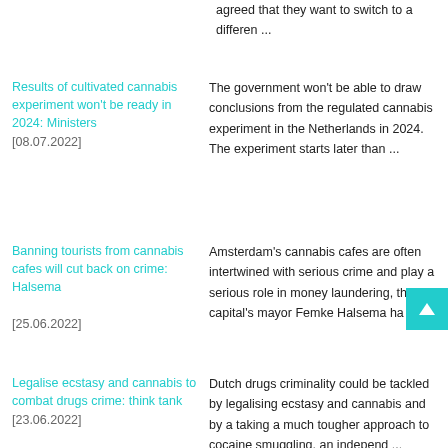agreed that they want to switch to a differen ...
Results of cultivated cannabis experiment won't be ready in 2024: Ministers [08.07.2022]
The government won't be able to draw conclusions from the regulated cannabis experiment in the Netherlands in 2024. The experiment starts later than ...
Banning tourists from cannabis cafes will cut back on crime: Halsema [25.06.2022]
Amsterdam's cannabis cafes are often intertwined with serious crime and play a serious role in money laundering, the capital's mayor Femke Halsema ha ...
Legalise ecstasy and cannabis to combat drugs crime: think tank [23.06.2022]
Dutch drugs criminality could be tackled by legalising ecstasy and cannabis and by a taking a much tougher approach to cocaine smuggling, an independ ...
Street dealers dealt with in
As tourists return in full force to the